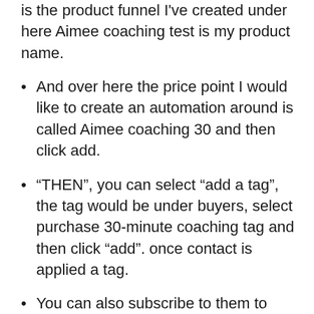is the product funnel I've created under here Aimee coaching test is my product name.
And over here the price point I would like to create an automation around is called Aimee coaching 30 and then click add.
“THEN”, you can select “add a tag”, the tag would be under buyers, select purchase 30-minute coaching tag and then click “add”. once contact is applied a tag.
You can also subscribe to them to